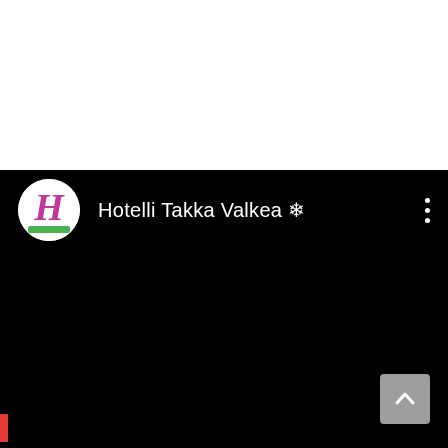[Figure (screenshot): Screenshot of a mobile app or website showing a hotel listing. A circular logo with a stylized pink/magenta italic 'H' on white background is on the left. Next to it, white text reads 'Hotelli Takka Valkea ❄' on a black background. Three vertical dots (menu icon) appear on the right. The content area below is entirely black (video or image not loaded). A scroll-to-top button with an upward chevron is in the bottom-right corner. The overall background of the screenshot area is dark gray.]